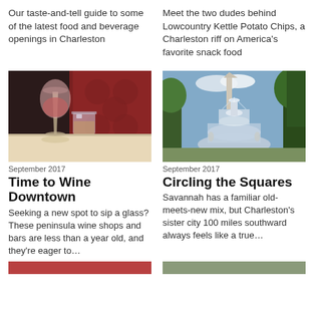Our taste-and-tell guide to some of the latest food and beverage openings in Charleston
Meet the two dudes behind Lowcountry Kettle Potato Chips, a Charleston riff on America's favorite snack food
[Figure (photo): Wine glass and cocktail glass on a table in a dimly lit restaurant with red upholstery]
September 2017
Time to Wine Downtown
Seeking a new spot to sip a glass? These peninsula wine shops and bars are less than a year old, and they're eager to…
[Figure (photo): Fountain in a park square in Savannah with trees in background]
September 2017
Circling the Squares
Savannah has a familiar old-meets-new mix, but Charleston's sister city 100 miles southward always feels like a true…